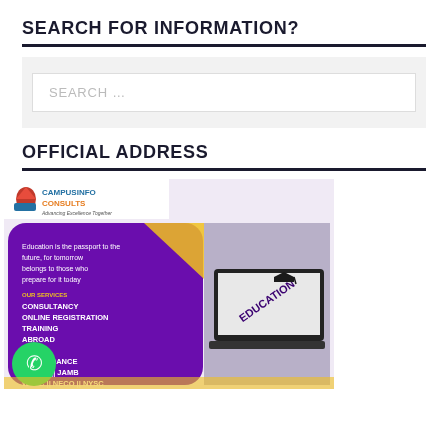SEARCH FOR INFORMATION?
SEARCH ...
OFFICIAL ADDRESS
[Figure (infographic): CampusInfo Consults promotional banner showing logo, quote about education, list of services (CONSULTANCY, ONLINE REGISTRATION, TRAINING, ABROAD, ITING, ION GUIDANCE, OCOPY || JAMB, WAEC || NECO || NYSC), WhatsApp icon, and a laptop with graduation cap showing EDUCATION text.]